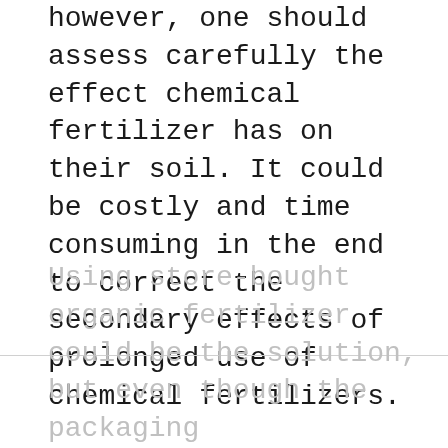however, one should assess carefully the effect chemical fertilizer has on their soil. It could be costly and time consuming in the end to correct the secondary effects of prolonged use of chemical fertilizers.
Using store-bought organic fertilizer could be the solution, but even though the packaging